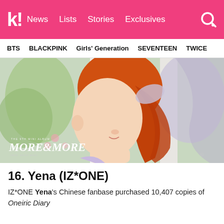k! | News   Lists   Stories   Exclusives
BTS   BLACKPINK   Girls' Generation   SEVENTEEN   TWICE
[Figure (photo): Promotional photo of IZ*ONE member Yena with orange/red hair and lavender outfit. Album overlay text reads 'THE 9TH MINI ALBUM MORE&MORE' at the bottom left.]
16. Yena (IZ*ONE)
IZ*ONE Yena's Chinese fanbase purchased 10,407 copies of Oneiric Diary